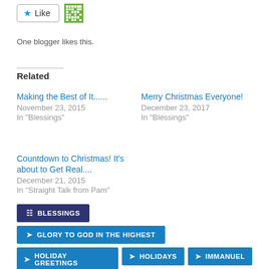[Figure (screenshot): Like button with star icon and QR code icon. Text: 'One blogger likes this.']
One blogger likes this.
Related
Making the Best of It......
November 23, 2015
In "Blessings"
Merry Christmas Everyone!
December 23, 2017
In "Blessings"
Countdown to Christmas! It's about to Get Real....
December 21, 2015
In "Straight Talk from Pam"
BLESSINGS
GLORY TO GOD IN THE HIGHEST
HOLIDAY GREETINGS
HOLIDAYS
IMMANUEL